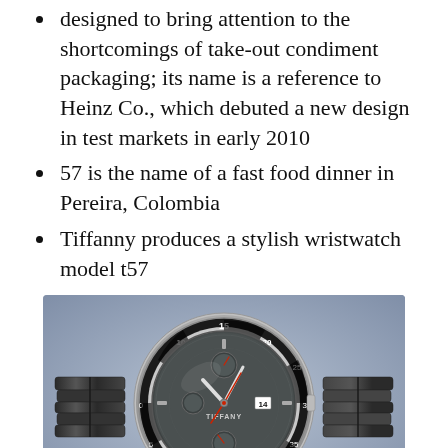designed to bring attention to the shortcomings of take-out condiment packaging; its name is a reference to Heinz Co., which debuted a new design in test markets in early 2010
57 is the name of a fast food dinner in Pereira, Colombia
Tiffanny produces a stylish wristwatch model t57
[Figure (photo): A stylish Tiffanny wristwatch model t57, a chronograph with black ceramic and steel bracelet, displayed on a dark stand against a gray background.]